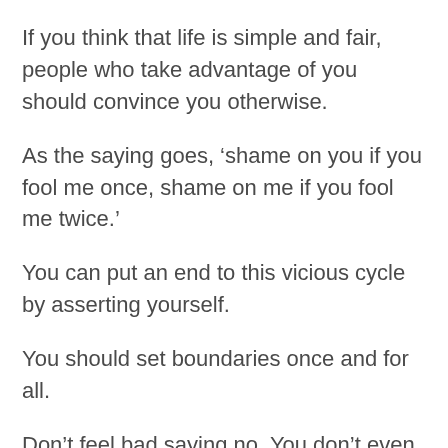If you think that life is simple and fair, people who take advantage of you should convince you otherwise.
As the saying goes, ‘shame on you if you fool me once, shame on me if you fool me twice.’
You can put an end to this vicious cycle by asserting yourself.
You should set boundaries once and for all.
Don’t feel bad saying no. You don’t even have to state your reason. All you just need to do is say “NO, I won’t let you (insert favor or request here).”
And if the person comes to you for a second time...